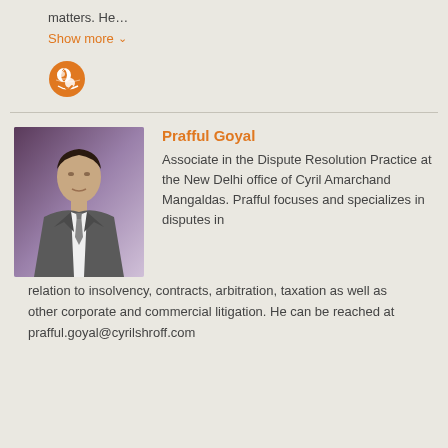matters. He...
Show more
[Figure (other): Orange globe/location icon]
[Figure (photo): Professional headshot of Prafful Goyal in a suit and tie against a purple/mauve background]
Prafful Goyal
Associate in the Dispute Resolution Practice at the New Delhi office of Cyril Amarchand Mangaldas. Prafful focuses and specializes in disputes in relation to insolvency, contracts, arbitration, taxation as well as other corporate and commercial litigation. He can be reached at prafful.goyal@cyrilshroff.com